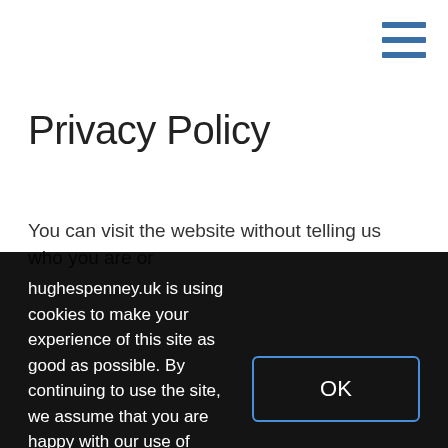[Figure (other): Hamburger menu icon with three horizontal blue lines in top-right corner]
Privacy Policy
You can visit the website without telling us who you are or
hughespenney.uk is using cookies to make your experience of this site as good as possible. By continuing to use the site, we assume that you are happy with our use of cookies. Please take a look at our Privacy policy and Terms of service .